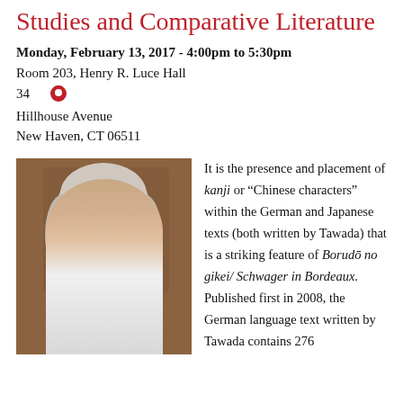Studies and Comparative Literature
Monday, February 13, 2017 - 4:00pm to 5:30pm
Room 203, Henry R. Luce Hall
34
Hillhouse Avenue
New Haven, CT 06511
[Figure (photo): Portrait photo of a woman with gray hair, glasses, wearing a white top and green scarf, against a brown background]
It is the presence and placement of kanji or “Chinese characters” within the German and Japanese texts (both written by Tawada) that is a striking feature of Borudō no gikei/ Schwager in Bordeaux. Published first in 2008, the German language text written by Tawada contains 276